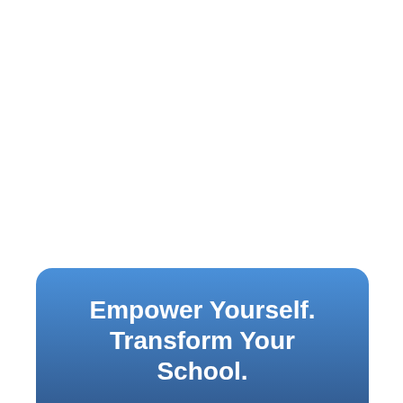Empower Yourself. Transform Your School.
Talk to us about programming opportunities